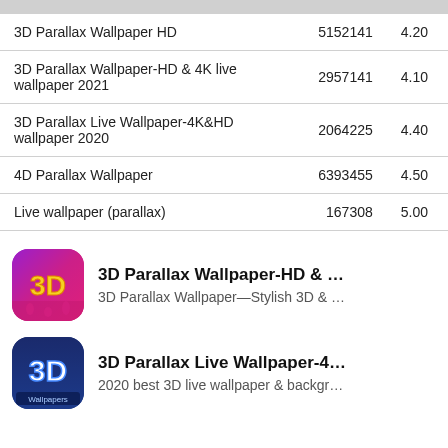| App Name | Downloads | Rating |
| --- | --- | --- |
| 3D Parallax Wallpaper HD | 5152141 | 4.20 |
| 3D Parallax Wallpaper-HD & 4K live wallpaper 2021 | 2957141 | 4.10 |
| 3D Parallax Live Wallpaper-4K&HD wallpaper 2020 | 2064225 | 4.40 |
| 4D Parallax Wallpaper | 6393455 | 4.50 |
| Live wallpaper (parallax) | 167308 | 5.00 |
[Figure (screenshot): App icon for 3D Parallax Wallpaper-HD & 4K: purple/magenta gradient background with glowing '3D' text in yellow/orange]
3D Parallax Wallpaper-HD & 4...
3D Parallax Wallpaper—Stylish 3D & HD li...
[Figure (screenshot): App icon for 3D Parallax Live Wallpaper-4K: dark navy blue background with '3D' text in white/blue and 'Wallpapers' label at bottom]
3D Parallax Live Wallpaper-4K...
2020 best 3D live wallpaper & background...